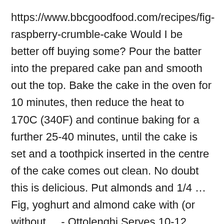https://www.bbcgoodfood.com/recipes/fig-raspberry-crumble-cake Would I be better off buying some? Pour the batter into the prepared cake pan and smooth out the top. Bake the cake in the oven for 10 minutes, then reduce the heat to 170C (340F) and continue baking for a further 25-40 minutes, until the cake is set and a toothpick inserted in the centre of the cake comes out clean. No doubt this is delicious. Put almonds and 1/4 … Fig, yoghurt and almond cake with (or without ... - Ottolenghi Serves 10-12. Check this by inserting a skewer in the cake: it's done if it comes out clean. 180g almond meal. Wow. I never heard of it. Just the texture of this cake and the fact that it has figs in it has sold me. Of course the cooking time will need to be decreased. In a large bowl, place egg whites, caster and brown sugar, and combine